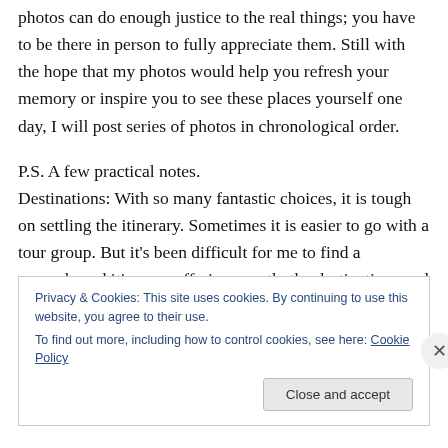photos can do enough justice to the real things; you have to be there in person to fully appreciate them. Still with the hope that my photos would help you refresh your memory or inspire you to see these places yourself one day, I will post series of photos in chronological order.
P.S. A few practical notes.
Destinations: With so many fantastic choices, it is tough on settling the itinerary. Sometimes it is easier to go with a tour group. But it’s been difficult for me to find a prepackaged itinerary offering exactly the destinations and schedules that I want. And I do not mind the effort on
Privacy & Cookies: This site uses cookies. By continuing to use this website, you agree to their use.
To find out more, including how to control cookies, see here: Cookie Policy
Close and accept